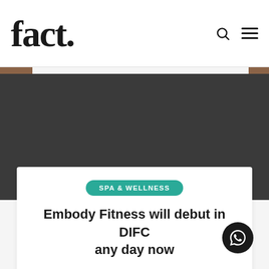fact.
[Figure (screenshot): Dark hero image area, dark charcoal/grey background]
SPA & WELLNESS
Embody Fitness will debut in DIFC any day now
By Samia Qaiyum  4 days ago